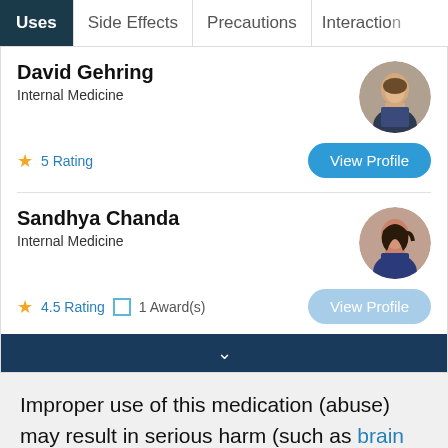Uses | Side Effects | Precautions | Interactions
David Gehring
Internal Medicine
5 Rating
[Figure (photo): Circular profile photo of David Gehring, a man in a suit]
Sandhya Chanda
Internal Medicine
4.5 Rating  1 Award(s)
[Figure (photo): Circular profile photo of Sandhya Chanda, a woman]
Improper use of this medication (abuse) may result in serious harm (such as brain damage, seizure,
ADVERTISEMENT